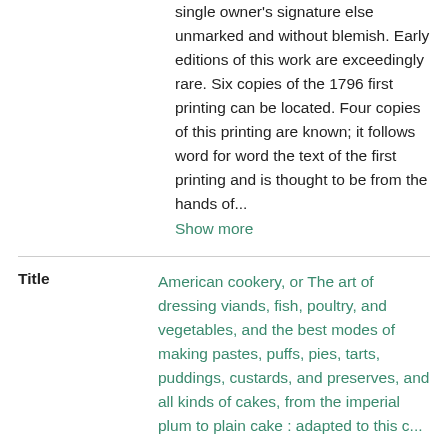single owner's signature else unmarked and without blemish. Early editions of this work are exceedingly rare. Six copies of the 1796 first printing can be located. Four copies of this printing are known; it follows word for word the text of the first printing and is thought to be from the hands of...
Show more
| Field | Value |
| --- | --- |
| Title | American cookery, or The art of dressing viands, fish, poultry, and vegetables, and the best modes of making pastes, puffs, pies, tarts, puddings, custards, and preserves, and all kinds of cakes, from the imperial plum to plain cake : adapted to this c... |
| Creator | Simmons, Amelia |
| Date | 1798 |
| Collection | Feeding America: the Historic American |